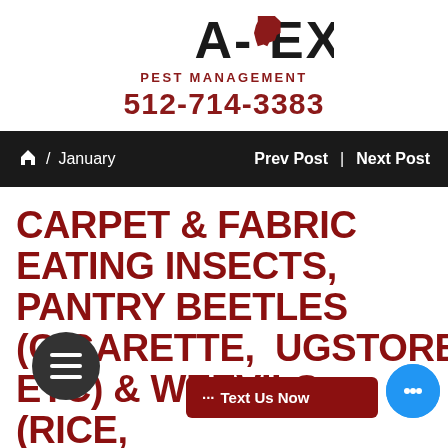[Figure (logo): A-TEX Pest Management logo with Texas silhouette and text]
PEST MANAGEMENT
512-714-3383
Home / January   Prev Post | Next Post
CARPET & FABRIC EATING INSECTS, PANTRY BEETLES (CIGARETTE, DRUGSTORE ETC) & WEEVILS (RICE,